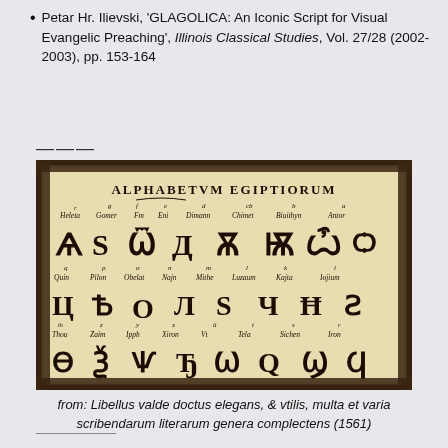Petar Hr. Ilievski, 'GLAGOLICA: An Iconic Script for Visual Evangelic Preaching', Illinois Classical Studies, Vol. 27/28 (2002-2003), pp. 153-164
[Figure (photo): Historical engraving showing 'ALPHABETVM EGIPTIORUM' — a Glagolitic alphabet chart with letter names (Heleta, Gomer, Fm, Eni, Dimann, Chimet, Biuithyn, Antor, Quin, Pilon, Obelat, Najn, Mithe, Luzaum, Kajta, Iojium, Thou, Zaim, Ipph, Xiron, Vt, Tela, Sichen, Iron) and their corresponding glagolitic letter forms, from 1561.]
from: Libellus valde doctus elegans, & vtilis, multa et varia scribendarum literarum genera complectens (1561)